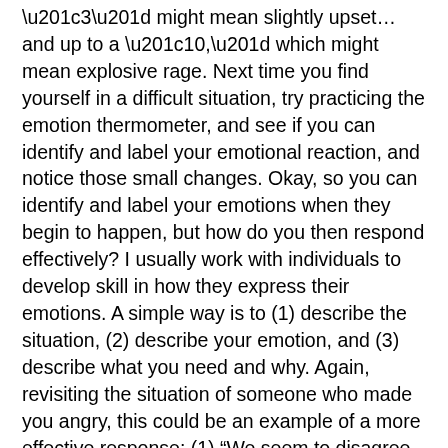“3” might mean slightly upset…and up to a “10,” which might mean explosive rage. Next time you find yourself in a difficult situation, try practicing the emotion thermometer, and see if you can identify and label your emotional reaction, and notice those small changes. Okay, so you can identify and label your emotions when they begin to happen, but how do you then respond effectively? I usually work with individuals to develop skill in how they express their emotions. A simple way is to (1) describe the situation, (2) describe your emotion, and (3) describe what you need and why. Again, revisiting the situation of someone who made you angry, this could be an example of a more effective response: (1) “We seem to disagree and are saying really negative things to each other.” (2) “I’m noticing that I’m becoming really upset,” and (3) “I need some space, otherwise I’m going to start yelling soon.” In this scenario, the upset individual is still able to express his/her anger; however, it is done in a way that does not hurt him/herself, offers an explanation to